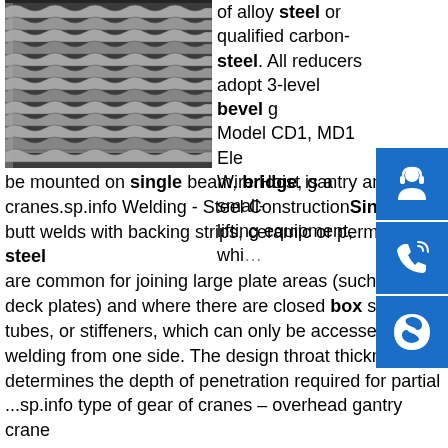[Figure (photo): Photo of stacked metal steel channel or U-shaped steel sections, close-up industrial photo]
of alloy steel or qualified carbon-steel. All reducers adopt 3-level bevel g... Model CD1, MD1 Ele... Wire Hoist is a small-lifting equipment, whi... be mounted on single beam, bridge, gantry and a... cranes.sp.info Welding - Steel ConstructionSingle-... butt welds with backing strips, ceramic or permanent steel are common for joining large plate areas (such as s... deck plates) and where there are closed box sectio... tubes, or stiffeners, which can only be accessed for welding from one side. The design throat thickness determines the depth of penetration required for partial ...sp.info type of gear of cranes – overhead gantry crane and hoist ...type of gear of cranes. Most modern manufacturers will use a helical gear set as the teeth are set at an angle to the gear axis. This means they can apply greater power than a spur gear unit due to the